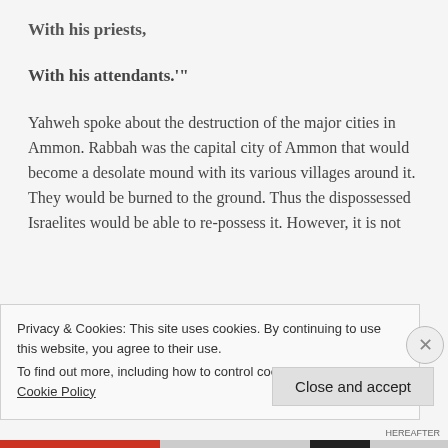With his priests,
With his attendants.'"
Yahweh spoke about the destruction of the major cities in Ammon. Rabbah was the capital city of Ammon that would become a desolate mound with its various villages around it. They would be burned to the ground. Thus the dispossessed Israelites would be able to re-possess it. However, it is not
Privacy & Cookies: This site uses cookies. By continuing to use this website, you agree to their use.
To find out more, including how to control cookies, see here: Cookie Policy
Close and accept